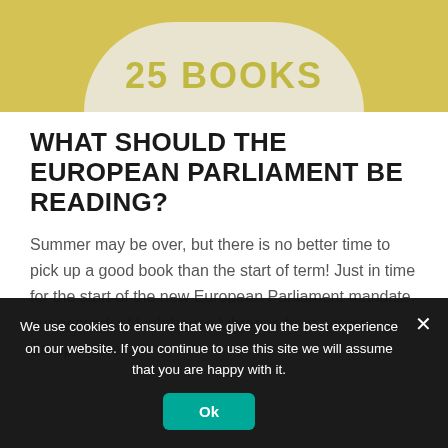[Figure (illustration): Top graphic with yellow background and a light beige semicircle containing decorative text partially visible]
WHAT SHOULD THE EUROPEAN PARLIAMENT BE READING?
Summer may be over, but there is no better time to pick up a good book than the start of term! Just in time for the start of the new European Parliament mandate, our network of Lighthouse Libraries from across Europe have
We use cookies to ensure that we give you the best experience on our website. If you continue to use this site we will assume that you are happy with it.